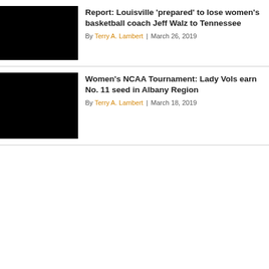[Figure (photo): Black thumbnail image for Louisville basketball article]
Report: Louisville 'prepared' to lose women's basketball coach Jeff Walz to Tennessee
By Terry A. Lambert | March 26, 2019
[Figure (photo): Black thumbnail image for Women's NCAA Tournament article]
Women's NCAA Tournament: Lady Vols earn No. 11 seed in Albany Region
By Terry A. Lambert | March 18, 2019